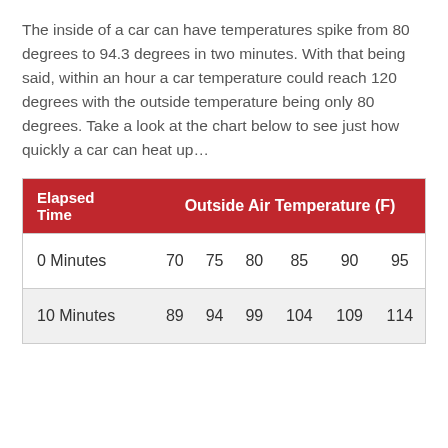The inside of a car can have temperatures spike from 80 degrees to 94.3 degrees in two minutes. With that being said, within an hour a car temperature could reach 120 degrees with the outside temperature being only 80 degrees. Take a look at the chart below to see just how quickly a car can heat up…
| Elapsed Time | 70 | 75 | 80 | 85 | 90 | 95 |
| --- | --- | --- | --- | --- | --- | --- |
| 0 Minutes | 70 | 75 | 80 | 85 | 90 | 95 |
| 10 Minutes | 89 | 94 | 99 | 104 | 109 | 114 |